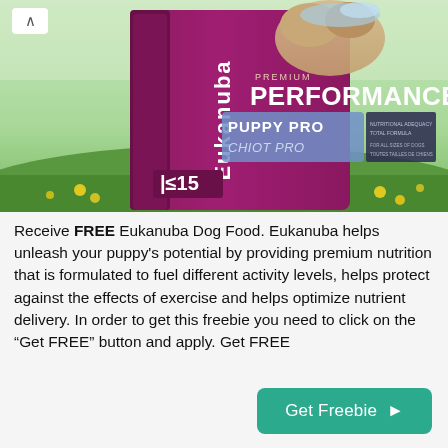[Figure (photo): Product photo of Eukanuba Premium Performance Puppy Pro dog food bag sitting outdoors on grass with yellow flowers in the background. The bag is dark magenta/purple with white and blue text. A puppy dog is partially visible at the top of the bag.]
Receive FREE Eukanuba Dog Food. Eukanuba helps unleash your puppy's potential by providing premium nutrition that is formulated to fuel different activity levels, helps protect against the effects of exercise and helps optimize nutrient delivery. In order to get this freebie you need to click on the “Get FREE” button and apply. Get FREE
Get Freebie ►